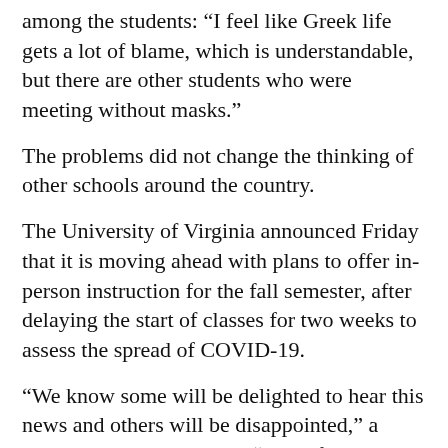among the students: “I feel like Greek life gets a lot of blame, which is understandable, but there are other students who were meeting without masks.”
The problems did not change the thinking of other schools around the country.
The University of Virginia announced Friday that it is moving ahead with plans to offer in-person instruction for the fall semester, after delaying the start of classes for two weeks to assess the spread of COVID-19.
“We know some will be delighted to hear this news and others will be disappointed,” a university statement said. “To be frank, it was a very difficult decision, made in the face of much uncertainty, and with full awareness that future events may force us to change course.”
___ Salter reported from O’Fallon, Missouri, Whitehurst from Salt Lake City. Associated Press journalists from around the world contributed.